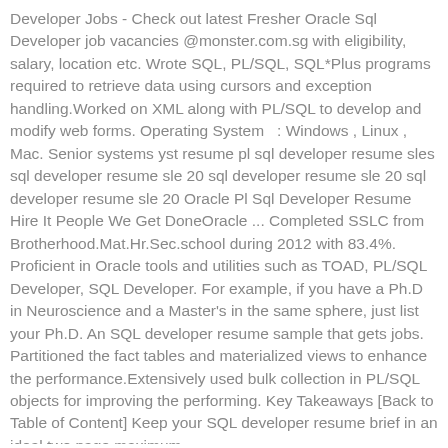Developer Jobs - Check out latest Fresher Oracle Sql Developer job vacancies @monster.com.sg with eligibility, salary, location etc. Wrote SQL, PL/SQL, SQL*Plus programs required to retrieve data using cursors and exception handling.Worked on XML along with PL/SQL to develop and modify web forms. Operating System  : Windows , Linux , Mac. Senior systems yst resume pl sql developer resume sles sql developer resume sle 20 sql developer resume sle 20 sql developer resume sle 20 Oracle Pl Sql Developer Resume Hire It People We Get DoneOracle ... Completed SSLC from Brotherhood.Mat.Hr.Sec.school during 2012 with 83.4%. Proficient in Oracle tools and utilities such as TOAD, PL/SQL Developer, SQL Developer. For example, if you have a Ph.D in Neuroscience and a Master's in the same sphere, just list your Ph.D. An SQL developer resume sample that gets jobs. Partitioned the fact tables and materialized views to enhance the performance.Extensively used bulk collection in PL/SQL objects for improving the performing. Key Takeaways [Back to Table of Content] Keep your SQL developer resume brief in an ideal two page maximum.